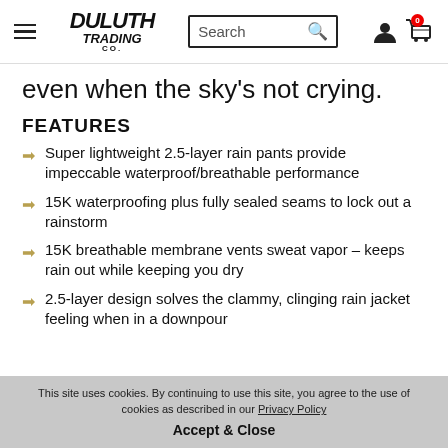Duluth Trading Co — Search bar and navigation icons
even when the sky's not crying.
FEATURES
Super lightweight 2.5-layer rain pants provide impeccable waterproof/breathable performance
15K waterproofing plus fully sealed seams to lock out a rainstorm
15K breathable membrane vents sweat vapor – keeps rain out while keeping you dry
2.5-layer design solves the clammy, clinging rain jacket feeling when in a downpour
This site uses cookies. By continuing to use this site, you agree to the use of cookies as described in our Privacy Policy
Accept & Close